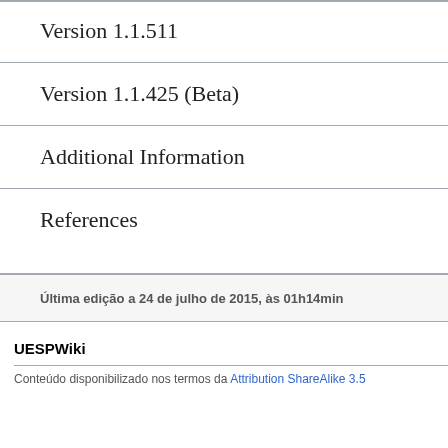Version 1.1.511
Version 1.1.425 (Beta)
Additional Information
References
Última edição a 24 de julho de 2015, às 01h14min
UESPWiki
Conteúdo disponibilizado nos termos da Attribution ShareAlike 3.5